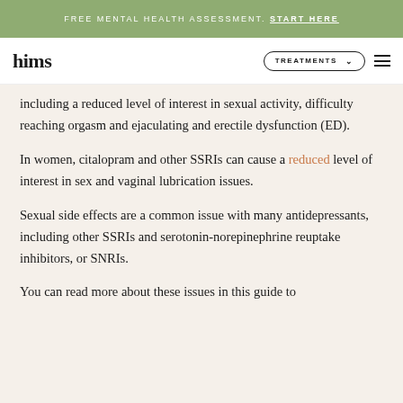FREE MENTAL HEALTH ASSESSMENT. START HERE
[Figure (logo): hims logo with TREATMENTS navigation button and hamburger menu]
including a reduced level of interest in sexual activity, difficulty reaching orgasm and ejaculating and erectile dysfunction (ED).
In women, citalopram and other SSRIs can cause a reduced level of interest in sex and vaginal lubrication issues.
Sexual side effects are a common issue with many antidepressants, including other SSRIs and serotonin-norepinephrine reuptake inhibitors, or SNRIs.
You can read more about these issues in this guide to